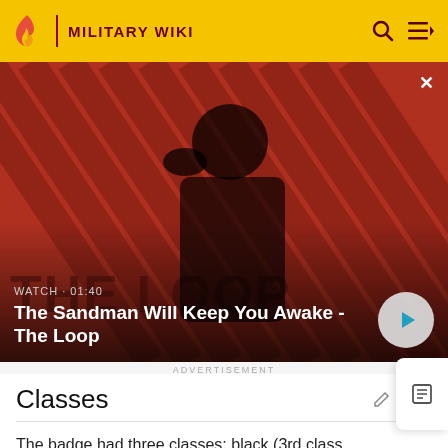MILITARY WIKI
[Figure (screenshot): Video thumbnail showing a dark-cloaked figure with a raven on shoulder against a red diagonal striped background. Title reads 'The Sandman Will Keep You Awake - The Loop'. Watch time shown as 01:40.]
ADVERTISEMENT
Classes
The badge had three classes: black (3rd class, representing Iron), for those wounded once or twice by